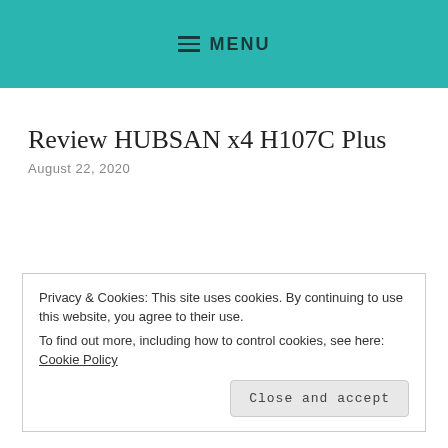≡ MENU
Review HUBSAN x4 H107C Plus
August 22, 2020
Privacy & Cookies: This site uses cookies. By continuing to use this website, you agree to their use.
To find out more, including how to control cookies, see here: Cookie Policy
Close and accept